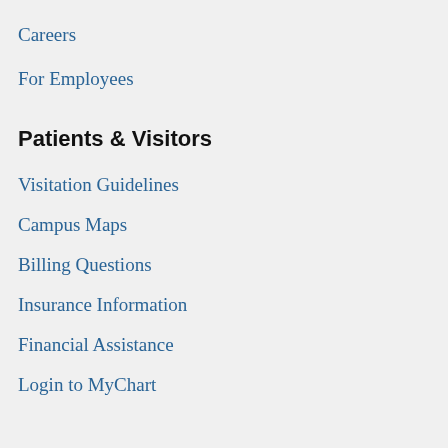Careers
For Employees
Patients & Visitors
Visitation Guidelines
Campus Maps
Billing Questions
Insurance Information
Financial Assistance
Login to MyChart